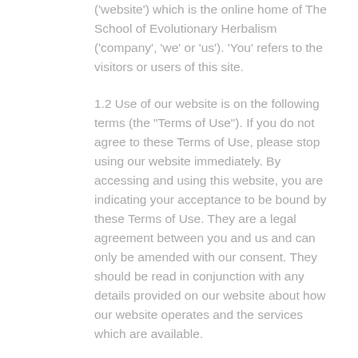('website') which is the online home of The School of Evolutionary Herbalism ('company', 'we' or 'us'). 'You' refers to the visitors or users of this site.
1.2 Use of our website is on the following terms (the "Terms of Use"). If you do not agree to these Terms of Use, please stop using our website immediately. By accessing and using this website, you are indicating your acceptance to be bound by these Terms of Use. They are a legal agreement between you and us and can only be amended with our consent. They should be read in conjunction with any details provided on our website about how our website operates and the services which are available.
1.3 We reserve the right to change these Terms of Use from time to time without